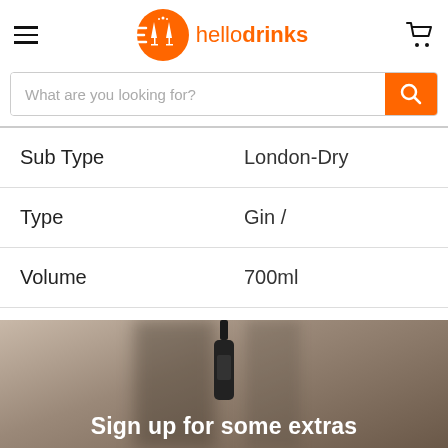hellodrinks
What are you looking for?
| Property | Value |
| --- | --- |
| Sub Type | London-Dry |
| Type | Gin / |
| Volume | 700ml |
[Figure (photo): Bottom section with a bottle silhouette and dark blurred background]
Sign up for some extras